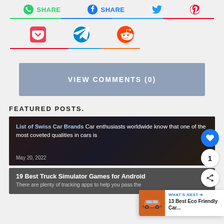[Figure (infographic): Social share buttons row: WhatsApp SHARE, Facebook SHARE, Twitter icon, Pinterest icon]
[Figure (infographic): Second row social icons: Pocket, Telegram, Reddit]
VIEW COMMENTS (0)
FEATURED POSTS.
[Figure (photo): Featured post card: List of Swiss Car Brands. Car enthusiasts worldwide know that one of the most coveted qualities in cars is. May 20, 2022]
[Figure (photo): Second featured post card: 19 Best Truck Simulator Games for Android. There are plenty of tracking apps to help you pass the]
[Figure (infographic): What's Next widget: 13 Best Eco Friendly Car... with orange car thumbnail]